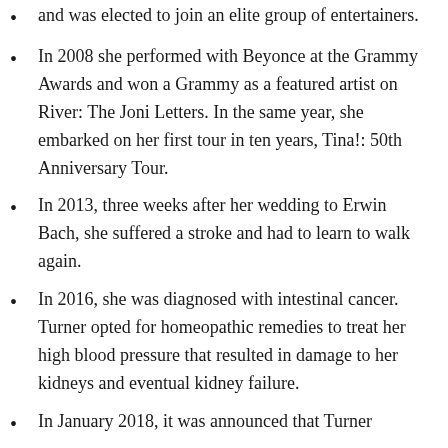and was elected to join an elite group of entertainers.
In 2008 she performed with Beyonce at the Grammy Awards and won a Grammy as a featured artist on River: The Joni Letters. In the same year, she embarked on her first tour in ten years, Tina!: 50th Anniversary Tour.
In 2013, three weeks after her wedding to Erwin Bach, she suffered a stroke and had to learn to walk again.
In 2016, she was diagnosed with intestinal cancer. Turner opted for homeopathic remedies to treat her high blood pressure that resulted in damage to her kidneys and eventual kidney failure.
In January 2018, it was announced that Turner